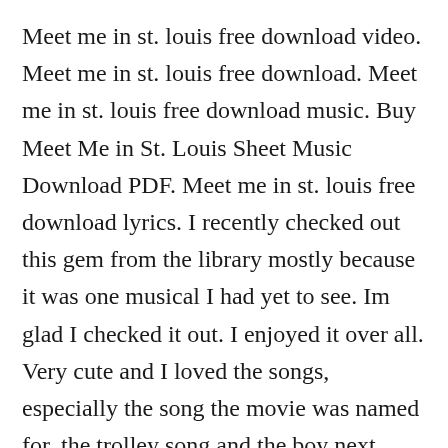Meet me in st. louis free download video. Meet me in st. louis free download. Meet me in st. louis free download music. Buy Meet Me in St. Louis Sheet Music Download PDF. Meet me in st. louis free download lyrics. I recently checked out this gem from the library mostly because it was one musical I had yet to see. Im glad I checked it out. I enjoyed it over all. Very cute and I loved the songs, especially the song the movie was named for, the trolley song and the boy next door. br> I am such a musical freak, and may eventually add it to my DVD collection too. I recently saw Singin' in the Rain too, and I enjoyed it too. Everyone in this movie was great! And Judy's voice in this film was really top notch and just fun